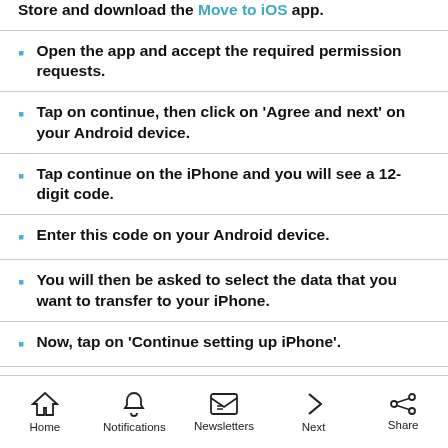Store and download the Move to iOS app.
Open the app and accept the required permission requests.
Tap on continue, then click on ‘Agree and next’ on your Android device.
Tap continue on the iPhone and you will see a 12-digit code.
Enter this code on your Android device.
You will then be asked to select the data that you want to transfer to your iPhone.
Now, tap on ‘Continue setting up iPhone’.
Home | Notifications | Newsletters | Next | Share